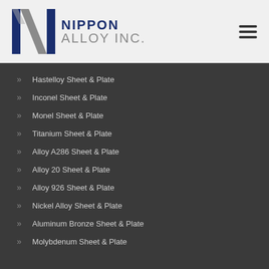[Figure (logo): Nippon Alloy Inc. logo with stylized N and I letterforms in navy blue and gray, with company name text]
Hastelloy Sheet & Plate
Inconel Sheet & Plate
Monel Sheet & Plate
Titanium Sheet & Plate
Alloy A286 Sheet & Plate
Alloy 20 Sheet & Plate
Alloy 926 Sheet & Plate
Nickel Alloy Sheet & Plate
Aluminum Bronze Sheet & Plate
Molybdenum Sheet & Plate